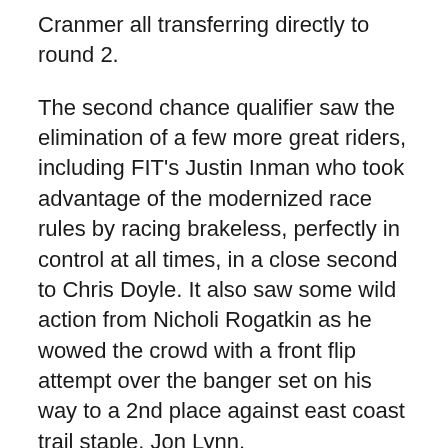Cranmer all transferring directly to round 2.
The second chance qualifier saw the elimination of a few more great riders, including FIT's Justin Inman who took advantage of the modernized race rules by racing brakeless, perfectly in control at all times, in a close second to Chris Doyle. It also saw some wild action from Nicholi Rogatkin as he wowed the crowd with a front flip attempt over the banger set on his way to a 2nd place against east coast trail staple, Jon Lynn.
With Van Homan, Jon Lynn, Alex Anthony, Chris Doyle, Aaron Ross, and Derek Sipkoi now transferring on, the sudden-death semi's started bombing the hillside.
Round 2 featured some legendary battles including Redline's Brandon Dosch who just barely edged out a hard-charging Derek Sipkoi. Victor Rohm threw some big